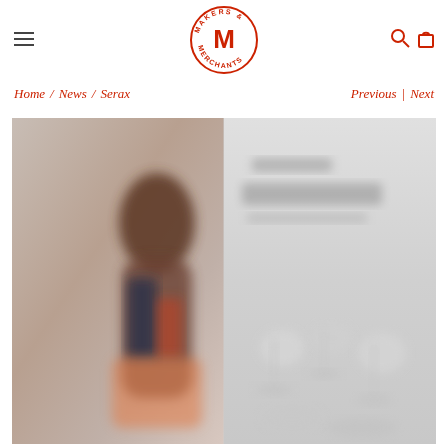Makers & Merchants logo with hamburger menu, search and bag icons
Home / News / Serax   Previous | Next
[Figure (photo): Two-panel image: left panel shows a blurred close-up of a person (appears to be a woman with dark hair) in a lifestyle/interior setting with warm tones. Right panel shows a blurred product catalog or magazine spread with tableware items on a light grey/white background.]